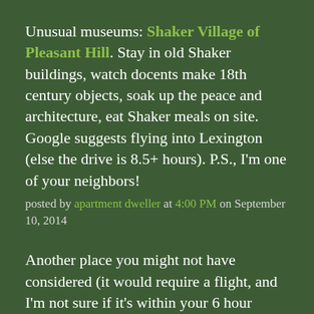Unusual museums: Shaker Village of Pleasant Hill. Stay in old Shaker buildings, watch docents make 18th century objects, soak up the peace and architecture, eat Shaker meals on site. Google suggests flying into Lexington (else the drive is 8.5+ hours). P.S., I'm one of your neighbors!
posted by apartment dweller at 4:00 PM on September 10, 2014
Another place you might not have considered (it would require a flight, and I'm not sure if it's within your 6 hour limit) is St. John's, Newfoundland.
The city itself is indeed "dense and walkable," though in some places you might need to rent a car or use public transit. While I was there, I did a haunted walking tour, and visited Signal Hill and Cape Spear, and went on a whale watching boat (spur of the moment decision).